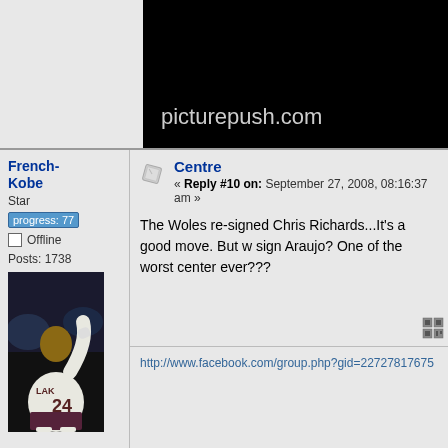[Figure (screenshot): Black image placeholder with text 'picturepush.com']
French-Kobe
Star
progress: 77
Offline
Posts: 1738
[Figure (photo): Avatar photo of Kobe Bryant in Lakers #24 jersey]
Centre
« Reply #10 on: September 27, 2008, 08:16:37 am »
The Woles re-signed Chris Richards...It's a good move. But w sign Araujo? One of the worst center ever???
http://www.facebook.com/group.php?gid=22727817675